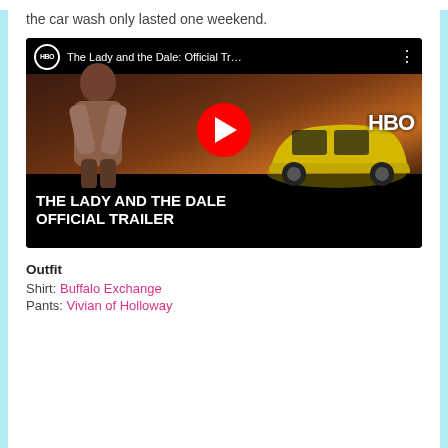the car wash only lasted one weekend.
[Figure (screenshot): YouTube video embed showing HBO's 'The Lady and the Dale: Official Tr...' with a woman standing next to a yellow car, a red YouTube play button in the center, HBO watermark top right, and bold white text at bottom reading 'THE LADY AND THE DALE OFFICIAL TRAILER']
Outfit
Shirt: Buffalo Exchange
Pants: Vivian of Holloway